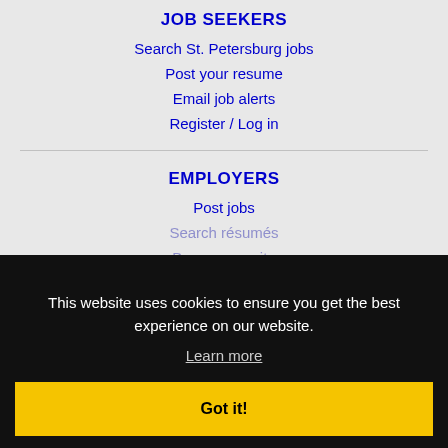JOB SEEKERS
Search St. Petersburg jobs
Post your resume
Email job alerts
Register / Log in
EMPLOYERS
Post jobs
Search résumés
Browse our site
This website uses cookies to ensure you get the best experience on our website.
Learn more
Got it!
Immigration FAQs
Learn more